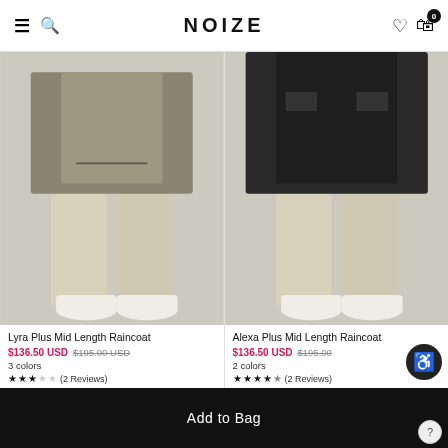NOIZE
[Figure (photo): Lyra Plus Mid Length Raincoat product photo showing model from waist down wearing metallic/olive raincoat and beige pants with white sneakers]
Lyra Plus Mid Length Raincoat
$136.50 USD  $195.00 USD
3 colors
★★★☆☆ (2 Reviews)
[Figure (photo): Alexa Plus Mid Length Raincoat product photo showing model from waist down wearing black raincoat and beige pants with white sneakers]
Alexa Plus Mid Length Rainco...
$136.50 USD  $195.00 USD
2 colors
★★★★½ (2 Reviews)
Add to Bag